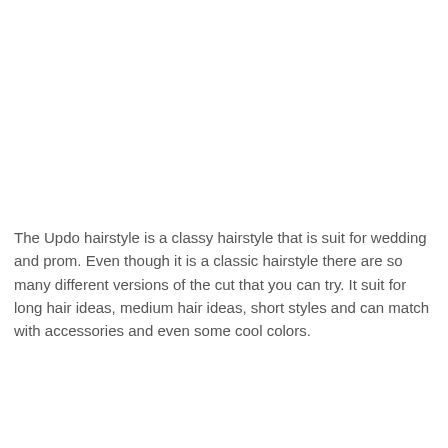The Updo hairstyle is a classy hairstyle that is suit for wedding and prom. Even though it is a classic hairstyle there are so many different versions of the cut that you can try. It suit for long hair ideas, medium hair ideas, short styles and can match with accessories and even some cool colors.